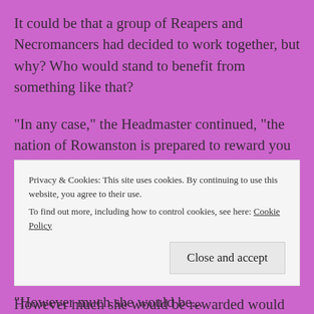It could be that a group of Reapers and Necromancers had decided to work together, but why? Who would stand to benefit from something like that?
“In any case,” the Headmaster continued, “the nation of Rowanston is prepared to reward you a handsome commission for solving this mess. And whatever they pay, the Society will match it, for helping to clear our name.”
Irena thought back to the letter on her writing desk.
However much she would be rewarded would be more
Privacy & Cookies: This site uses cookies. By continuing to use this website, you agree to their use.
To find out more, including how to control cookies, see here: Cookie Policy
Close and accept
“However much she would be...”